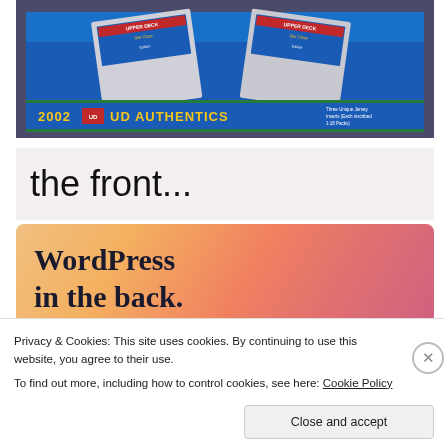[Figure (photo): Photo of a box of 2002 Upper Deck UD Authentics trading card packs. The box is bright blue with silver card packs visible inside. The front of the box reads '2002 UD AUTHENTICS' in gold lettering on a green-bordered banner, with text about unique jersey inserts.]
the front...
[Figure (screenshot): WordPress promotional banner with orange-pink gradient background reading 'WordPress in the back.' in large dark serif text.]
Privacy & Cookies: This site uses cookies. By continuing to use this website, you agree to their use.
To find out more, including how to control cookies, see here: Cookie Policy
Close and accept